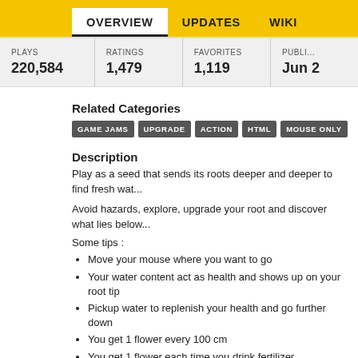OVERVIEW  UPDATES  WIKI
| PLAYS | RATINGS | FAVORITES | PUBLI... |
| --- | --- | --- | --- |
| 220,584 | 1,479 | 1,119 | Jun 2 |
Related Categories
GAME JAMS
UPGRADE
ACTION
HTML
MOUSE ONLY
Description
Play as a seed that sends its roots deeper and deeper to find fresh wat...
Avoid hazards, explore, upgrade your root and discover what lies below...
Some tips :
Move your mouse where you want to go
Your water content act as health and shows up on your root tip
Pickup water to replenish your health and go further down
You get 1 flower every 100 cm
You get 1 flower each time you drink fertilizer
Upgrading is key !
Small roots move randomly, but they can go faster and get water fro...